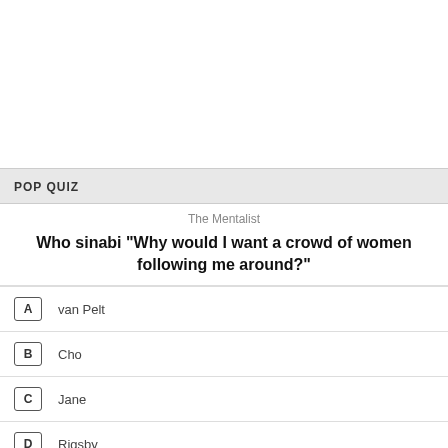POP QUIZ
The Mentalist
Who sinabi "Why would I want a crowd of women following me around?"
A  van Pelt
B  Cho
C  Jane
D  Rigsby
laktawan katanungan